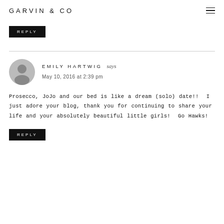GARVIN & CO
REPLY
EMILY HARTWIG says
May 10, 2016 at 2:39 pm
Prosecco, JoJo and our bed is like a dream (solo) date!! I just adore your blog, thank you for continuing to share your life and your absolutely beautiful little girls! Go Hawks!
REPLY